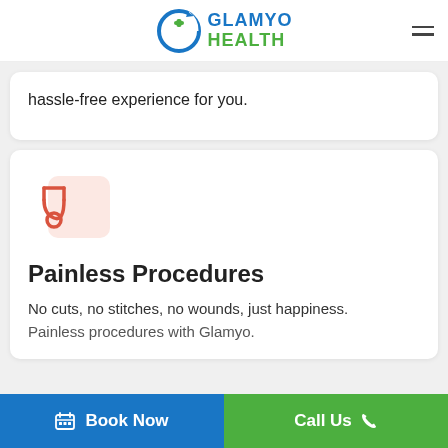[Figure (logo): Glamyo Health logo with circular icon and green/blue text]
hassle-free experience for you.
[Figure (illustration): Stethoscope icon in salmon/red color on a light pink rounded square background]
Painless Procedures
No cuts, no stitches, no wounds, just happiness. Painless procedures with Glamyo.